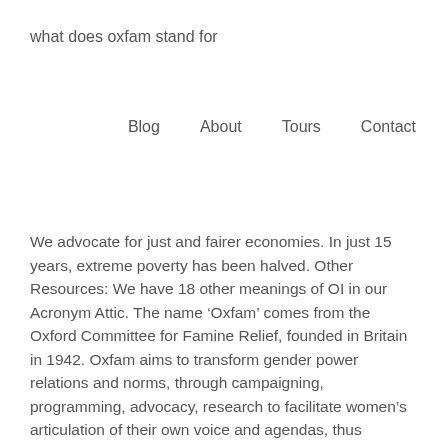what does oxfam stand for
Blog   About   Tours   Contact
We advocate for just and fairer economies. In just 15 years, extreme poverty has been halved. Other Resources: We have 18 other meanings of OI in our Acronym Attic. The name ‘Oxfam’ comes from the Oxford Committee for Famine Relief, founded in Britain in 1942. Oxfam aims to transform gender power relations and norms, through campaigning, programming, advocacy, research to facilitate women’s articulation of their own voice and agendas, thus reiterating commitment to right based development and putting women at the center of Oxfam’s work. Find out more about